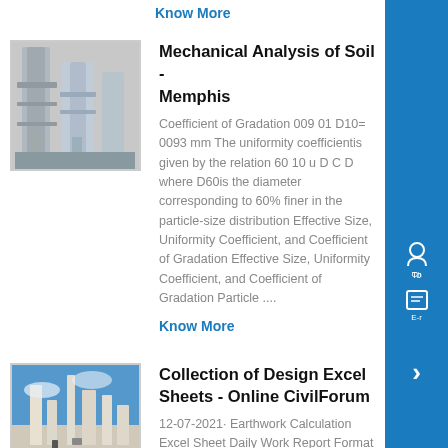Know More
[Figure (photo): Industrial machinery with pipes and cylindrical structures]
Mechanical Analysis of Soil - Memphis
Coefficient of Gradation 009 01 D10= 0093 mm The uniformity coefficientis given by the relation 60 10 u D C D where D60is the diameter corresponding to 60% finer in the particle-size distribution Effective Size, Uniformity Coefficient, and Coefficient of Gradation Effective Size, Uniformity Coefficient, and Coefficient of Gradation Particle ....
Know More
[Figure (photo): Industrial facility with towers and structures against blue sky]
Collection of Design Excel Sheets - Online CivilForum
12-07-2021· Earthwork Calculation Excel Sheet Daily Work Report Format Road Estimate Excel Sheet Bridge Cost